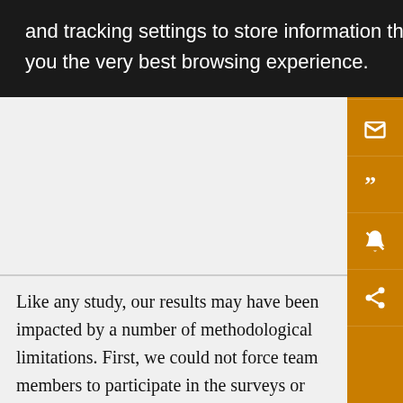[Figure (screenshot): Dark tooltip/popup box with white text reading: 'and tracking settings to store information that help give you the very best browsing experience.']
Like any study, our results may have been impacted by a number of methodological limitations. First, we could not force team members to participate in the surveys or the training/workshop, and thus, our results may oversample individuals who tend to care or feel concerned about the issue of sexual harassment and may have not fully captured the beliefs and behaviors of those who do not consider sexual harassment to be a serious concern. This could lead some results to be inflated (e.g., positive perceptions of the training), and others depressed (e.g., protest participating in the training). The lack of a 100%